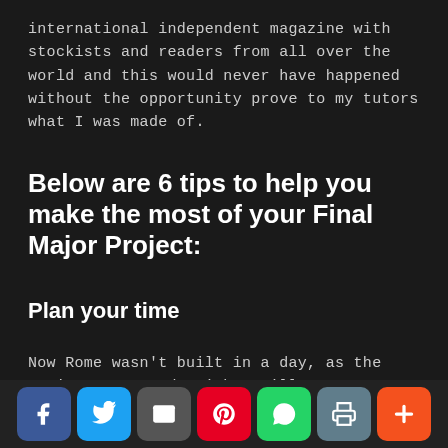international independent magazine with stockists and readers from all over the world and this would never have happened without the opportunity prove to my tutors what I was made of.
Below are 6 tips to help you make the most of your Final Major Project:
Plan your time
Now Rome wasn't built in a day, as the saying goes, and neither will your monster Final Major Project. Mine took 4